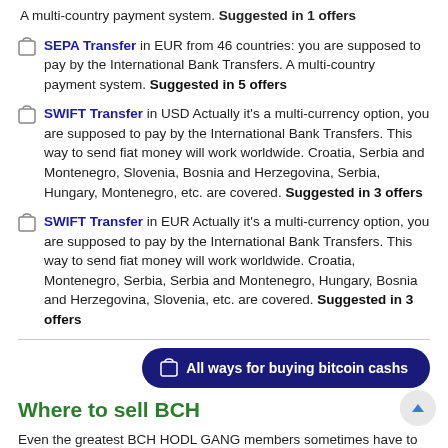A multi-country payment system. Suggested in 1 offers
SEPA Transfer in EUR from 46 countries: you are supposed to pay by the International Bank Transfers. A multi-country payment system. Suggested in 5 offers
SWIFT Transfer in USD Actually it's a multi-currency option, you are supposed to pay by the International Bank Transfers. This way to send fiat money will work worldwide. Croatia, Serbia and Montenegro, Slovenia, Bosnia and Herzegovina, Serbia, Hungary, Montenegro, etc. are covered. Suggested in 3 offers
SWIFT Transfer in EUR Actually it's a multi-currency option, you are supposed to pay by the International Bank Transfers. This way to send fiat money will work worldwide. Croatia, Montenegro, Serbia, Serbia and Montenegro, Hungary, Bosnia and Herzegovina, Slovenia, etc. are covered. Suggested in 3 offers
All ways for buying bitcoin cashs
Where to sell BCH
Even the greatest BCH HODL GANG members sometimes have to sell some of their precious coins. It's alright, everyone does it sometimes 🙂 and we are here to help! We know you want to find the buyer which will give you the highest price, there are such ones at our platform — check